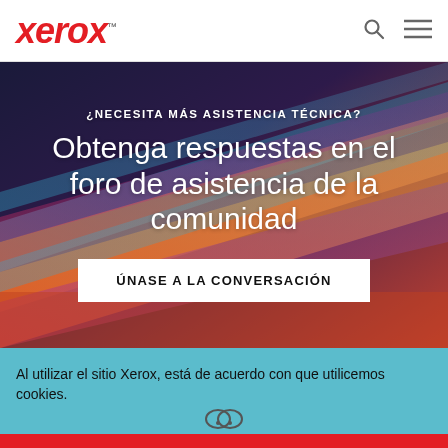xerox™
[Figure (illustration): Colorful abstract diagonal streaks of light in pink, blue, orange and teal forming a dark hero background]
¿NECESITA MÁS ASISTENCIA TÉCNICA?
Obtenga respuestas en el foro de asistencia de la comunidad
ÚNASE A LA CONVERSACIÓN
Al utilizar el sitio Xerox, está de acuerdo con que utilicemos cookies. ¿Quiere saber más?
Doy mi consentimiento al uso de cookies